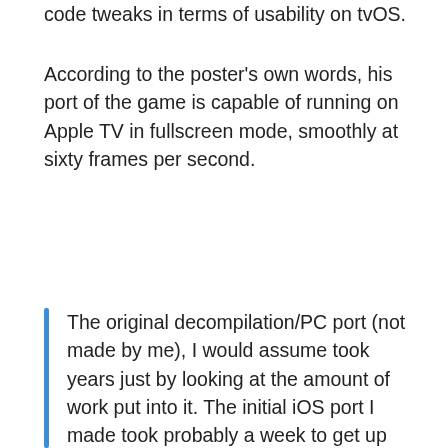code tweaks in terms of usability on tvOS.
According to the poster's own words, his port of the game is capable of running on Apple TV in fullscreen mode, smoothly at sixty frames per second.
The original decompilation/PC port (not made by me), I would assume took years just by looking at the amount of work put into it. The initial iOS port I made took probably a week to get up and running on iOS and a couple more weeks to get things like touch controls and the main menu working. Then since then I've been making small improvements like external display support, a touch controls rewrite, etc. And finally this tvOS port took